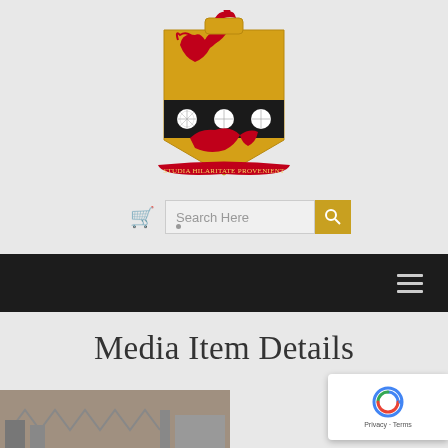[Figure (logo): School coat of arms / crest with red dragon on gold and black shield, motto ribbon reading 'STUDIA HILARITATE PROVENIENT']
[Figure (screenshot): Search bar with cart icon, text input placeholder 'Search Here', and gold search button with magnifying glass icon]
[Figure (screenshot): Black navigation bar with hamburger menu icon on the right]
Media Item Details
[Figure (photo): Partial view of a black and white historical photograph showing what appears to be equipment or machinery]